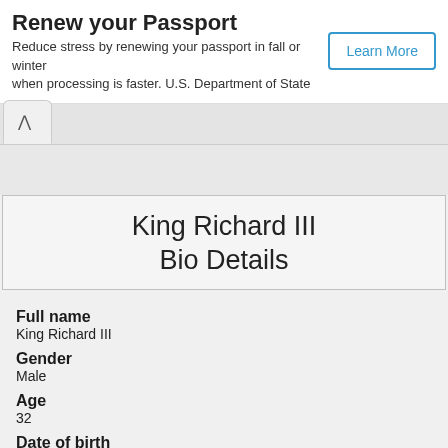Renew your Passport
Reduce stress by renewing your passport in fall or winter when processing is faster. U.S. Department of State
Learn More
[Figure (screenshot): Tab with up-caret arrow indicating a collapsible/expandable section]
King Richard III
Bio Details
Full name
King Richard III
Gender
Male
Age
32
Date of birth
Saturday 02 Oct 1452
Birth place
Fotheringhay Castle, Fotheringhay, Northamptonshire, England, UK